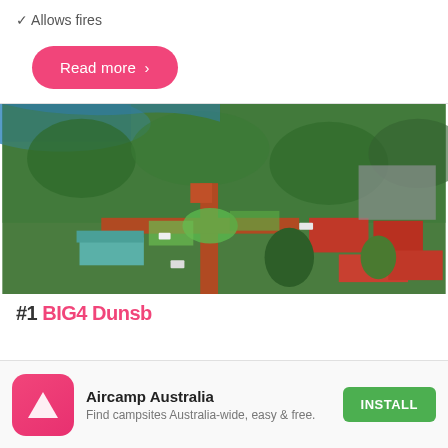✓ Allows fires
Read more ›
[Figure (photo): Aerial drone photograph of a campground/holiday park showing red-dirt roads, buildings with red roofs, green trees, a blue ocean visible in the background, and various camping facilities.]
#1 BIG4 Dunsborough Holiday Park (partial, cut off)
[Figure (other): Aircamp Australia app install banner with app icon (pink triangle logo), app name 'Aircamp Australia', subtitle 'Find campsites Australia-wide, easy & free.', and a green INSTALL button.]